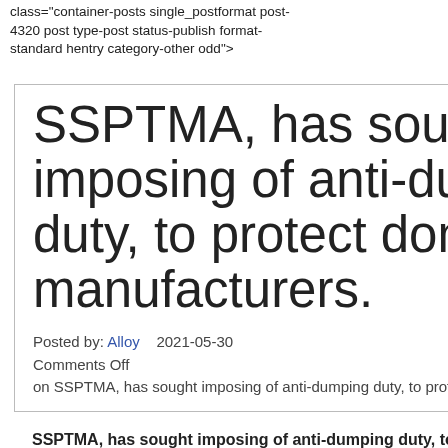class="container-posts single_postformat post-4320 post type-post status-publish format-standard hentry category-other odd">
SSPTMA, has sought imposing of anti-dumping duty, to protect domestic manufacturers.
Posted by: Alloy   2021-05-30
Comments Off
on SSPTMA, has sought imposing of anti-dumping duty, to protect domestic manufacturers.
SSPTMA, has sought imposing of anti-dumping duty, to p
With a surge in import of stainless steel (SS) pipes and tubes
Guest contributors are welcome at the Alloy Wiki.It is a weekly wiki and guide on alloy information and processing technology, while also about the vast array